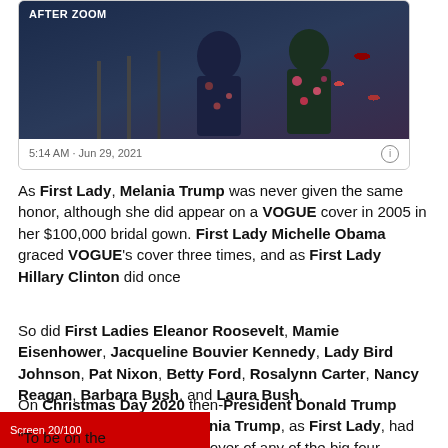[Figure (screenshot): Screenshot of a social media post showing two people in floral outfits, timestamp 5:14 AM · Jun 29, 2021]
As First Lady, Melania Trump was never given the same honor, although she did appear on a VOGUE cover in 2005 in her $100,000 bridal gown. First Lady Michelle Obama graced VOGUE's cover three times, and as First Lady Hillary Clinton did once
So did First Ladies Eleanor Roosevelt, Mamie Eisenhower, Jacqueline Bouvier Kennedy, Lady Bird Johnson, Pat Nixon, Betty Ford, Rosalynn Carter, Nancy Reagan, Barbara Bush, and Laura Bush.
On Christmas Day 2020 then-President Donald Trump expressed outrage that Melania Trump, as First Lady, had never been featured on the cover of any of the big four fashion magazines.
[Figure (screenshot): Partial screenshot at bottom left, red background visible]
"To be on the